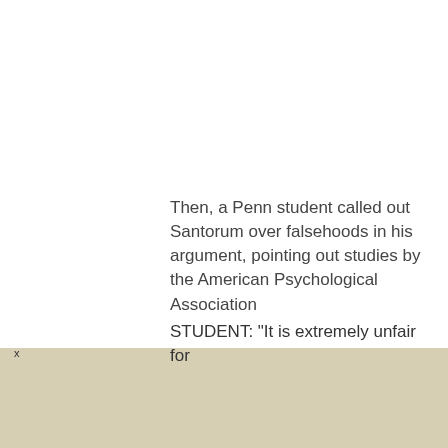Then, a Penn student called out Santorum over falsehoods in his argument, pointing out studies by the American Psychological Association
STUDENT: "It is extremely unfair for